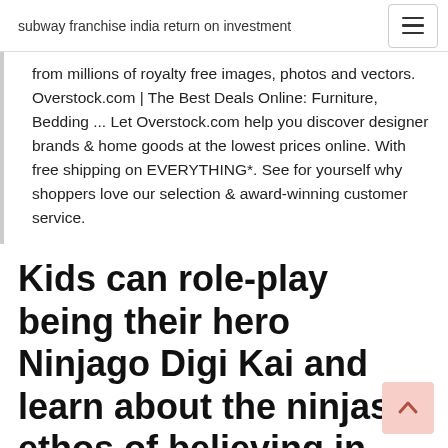subway franchise india return on investment
from millions of royalty free images, photos and vectors. Overstock.com | The Best Deals Online: Furniture, Bedding ... Let Overstock.com help you discover designer brands & home goods at the lowest prices online. With free shipping on EVERYTHING*. See for yourself why shoppers love our selection & award-winning customer service.
Kids can role-play being their hero Ninjago Digi Kai and learn about the ninjas' ethos of believing in yourself and helping others. Out of stock. $84.95 Each